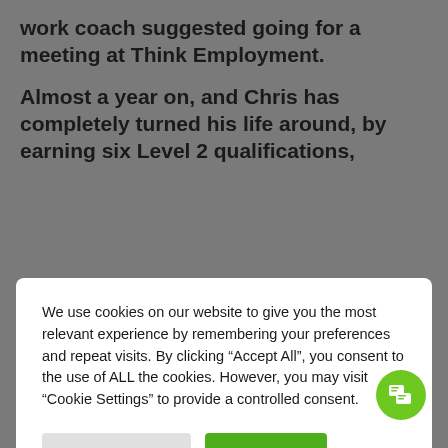work coach suggested going for a meeting at Think Employment.
Almost a year on, and Chris has completely turned his life around, by earning six Level 2 qualifications,
We use cookies on our website to give you the most relevant experience by remembering your preferences and repeat visits. By clicking “Accept All”, you consent to the use of ALL the cookies. However, you may visit “Cookie Settings” to provide a controlled consent.
Cookie Settings
Accept All
Chris, when did you first hear about Think Employment?
I was at the jobcentre enquiring about a CSC, when my advisor recommended Think Employment.